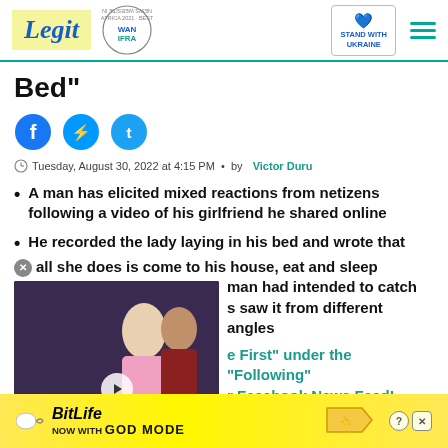Legit | WAN IFRA 2021 Best News Website in Africa | Stand with Ukraine
Bed"
[Figure (other): Social share icons: Facebook, Messenger, Twitter]
Tuesday, August 30, 2022 at 4:15 PM • by Victor Duru
A man has elicited mixed reactions from netizens following a video of his girlfriend he shared online
He recorded the lady laying in his bed and wrote that all she does is come to his house, eat and sleep
[Figure (screenshot): Video ad thumbnail showing couple with text 'I WANT TO BE WITH HER Forever' with play button]
man had intended to catch s saw it from different angles
e First" under the "Following" r Facebook News Feed!
[Figure (screenshot): BitLife advertisement banner: NOW WITH GOD MODE]